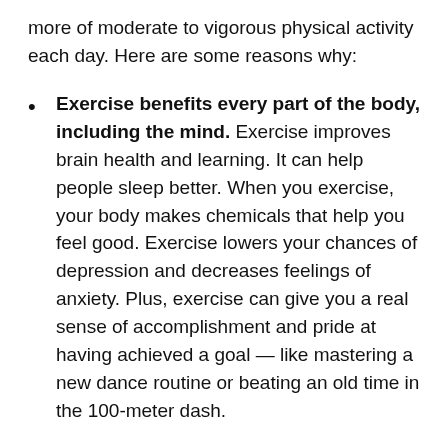more of moderate to vigorous physical activity each day. Here are some reasons why:
Exercise benefits every part of the body, including the mind. Exercise improves brain health and learning. It can help people sleep better. When you exercise, your body makes chemicals that help you feel good. Exercise lowers your chances of depression and decreases feelings of anxiety. Plus, exercise can give you a real sense of accomplishment and pride at having achieved a goal — like mastering a new dance routine or beating an old time in the 100-meter dash.
Exercise helps people keep a healthy weight and lower their risk of some diseases. Exercising regularly can help prevent weight gain,